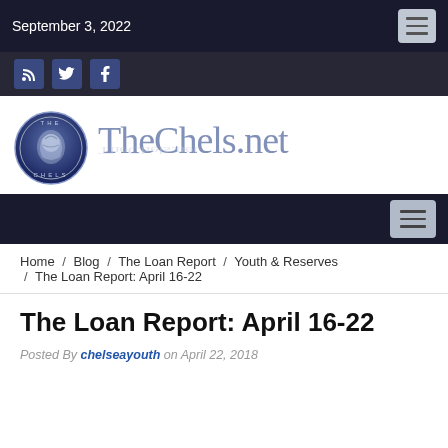September 3, 2022
[Figure (logo): TheChels.net website logo with Chelsea FC-style lion crest circle and blue gradient text]
Home / Blog / The Loan Report / Youth & Reserves / The Loan Report: April 16-22
The Loan Report: April 16-22
Posted By chelseayouth on April 22, 2018